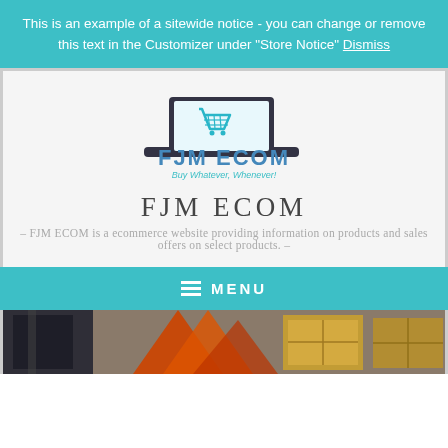This is an example of a sitewide notice - you can change or remove this text in the Customizer under "Store Notice" Dismiss
[Figure (logo): FJM ECOM logo with a laptop and shopping cart icon, text 'FJM ECOM' and tagline 'Buy Whatever, Whenever!']
FJM ECOM
- FJM ECOM is a ecommerce website providing information on products and sales offers on select products. -
≡ MENU
[Figure (photo): Photo of shipping/warehouse boxes and cargo containers in orange and gold tones]